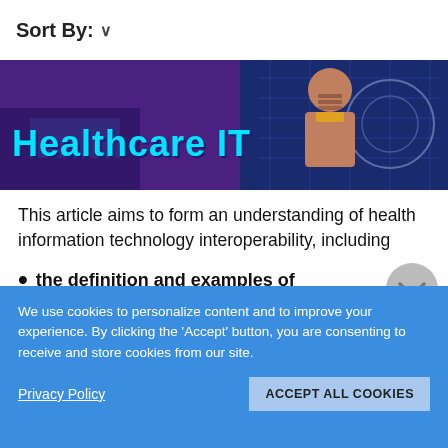Sort By: ∨
[Figure (illustration): Healthcare IT article hero banner with purple/dark blue background and illustrated figure, with cyan text 'Healthcare IT' partially visible at bottom]
This article aims to form an understanding of health information technology interoperability, including
the definition and examples of healthcare technology interoperability
its benefits for patients, healthcare facilities,
We use cookies to personalize content and to improve your experience. By clicking the 'Accept' button, you are consenting to receive and store cookies from our site.
Privacy Policy
ACCEPT ALL COOKIES